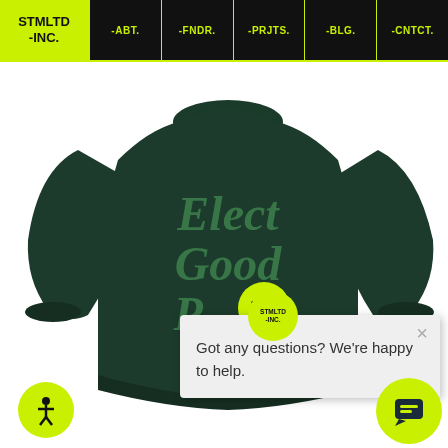STMTLD -INC. | -ABT. | -FNDR. | -PRJTS. | -BLG. | -CNTCT.
[Figure (photo): Dark green/forest green crewneck sweatshirt shown from behind, with cursive green text reading 'Elect Good P[eople]' partially visible. A STMLTD -INC. logo badge overlays the lower right of the sweatshirt. A chat popup overlay in the lower right reads 'Got any questions? We're happy to help.' with a close X button. Bottom left shows a yellow accessibility icon button and bottom right shows a yellow chat button.]